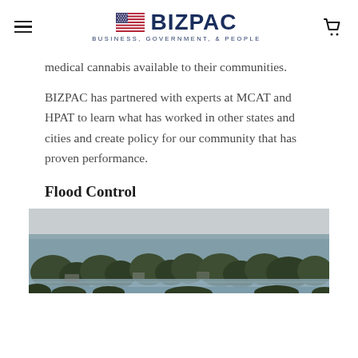BIZPAC - BUSINESS, GOVERNMENT, & PEOPLE
medical cannabis available to their communities.
BIZPAC has partnered with experts at MCAT and HPAT to learn what has worked in other states and cities and create policy for our community that has proven performance.
Flood Control
[Figure (photo): Aerial photograph showing a flooded suburban area with trees and homes submerged in floodwater, viewed from above under an overcast sky.]